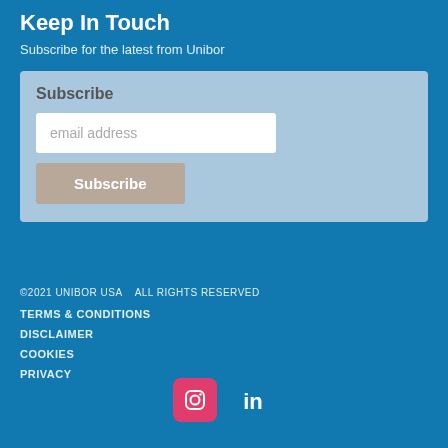Keep In Touch
Subscribe for the latest from Unibor
Subscribe
email address
Subscribe
©2021 UNIBOR USA   ALL RIGHTS RESERVED
TERMS & CONDITIONS
DISCLAIMER
COOKIES
PRIVACY
[Figure (logo): Instagram and LinkedIn social media icons]